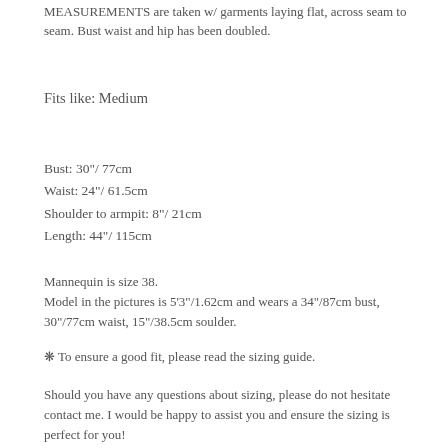MEASUREMENTS are taken w/ garments laying flat, across seam to seam. Bust waist and hip has been doubled.
Fits like: Medium
Bust: 30"/ 77cm
Waist: 24"/ 61.5cm
Shoulder to armpit: 8"/ 21cm
Length: 44"/ 115cm
Mannequin is size 38.
Model in the pictures is 5'3"/1.62cm and wears a 34"/87cm bust, 30"/77cm waist, 15"/38.5cm soulder.
❋ To ensure a good fit, please read the sizing guide.
Should you have any questions about sizing, please do not hesitate contact me. I would be happy to assist you and ensure the sizing is perfect for you!